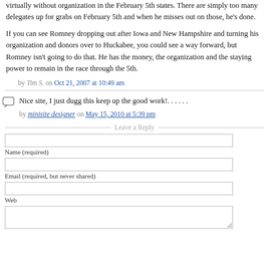virtually without organization in the February 5th states. There are simply too many delegates up for grabs on February 5th and when he misses out on those, he's done.
If you can see Romney dropping out after Iowa and New Hampshire and turning his organization and donors over to Huckabee, you could see a way forward, but Romney isn't going to do that. He has the money, the organization and the staying power to remain in the race through the 5th.
by Tim S. on Oct 21, 2007 at 10:49 am
Nice site, I just dugg this keep up the good work!. . . . . .
by minisite designer on May 15, 2010 at 5:39 pm
Leave a Reply
Name (required)
Email (required, but never shared)
Web